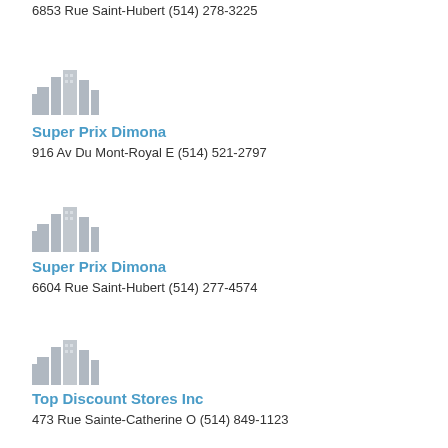6853 Rue Saint-Hubert (514) 278-3225
[Figure (illustration): Gray building/city skyline placeholder icon]
Super Prix Dimona
916 Av Du Mont-Royal E (514) 521-2797
[Figure (illustration): Gray building/city skyline placeholder icon]
Super Prix Dimona
6604 Rue Saint-Hubert (514) 277-4574
[Figure (illustration): Gray building/city skyline placeholder icon]
Top Discount Stores Inc
473 Rue Sainte-Catherine O (514) 849-1123
[Figure (illustration): Gray building/city skyline placeholder icon]